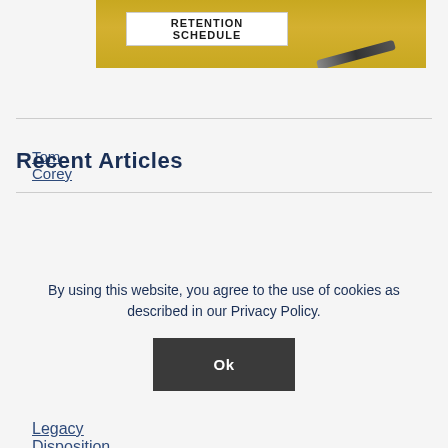[Figure (photo): A yellow binder labeled 'RETENTION SCHEDULE' with a pen resting on an open book/document in the background.]
Tom Corey
Recent Articles
Legacy Disposition Program Series: Article Two—
By using this website, you agree to the use of cookies as described in our Privacy Policy.
Ok